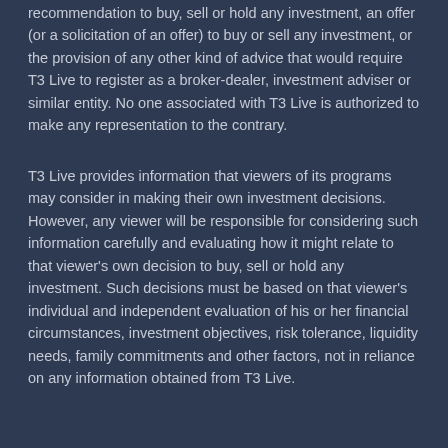recommendation to buy, sell or hold any investment, an offer (or a solicitation of an offer) to buy or sell any investment, or the provision of any other kind of advice that would require T3 Live to register as a broker-dealer, investment adviser or similar entity. No one associated with T3 Live is authorized to make any representation to the contrary.
T3 Live provides information that viewers of its programs may consider in making their own investment decisions. However, any viewer will be responsible for considering such information carefully and evaluating how it might relate to that viewer's own decision to buy, sell or hold any investment. Such decisions must be based on that viewer's individual and independent evaluation of his or her financial circumstances, investment objectives, risk tolerance, liquidity needs, family commitments and other factors, not in reliance on any information obtained from T3 Live.